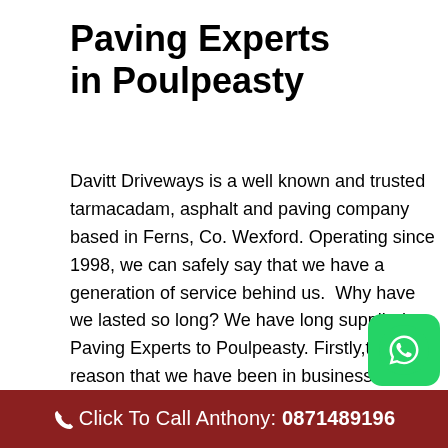Paving Experts in Poulpeasty
Davitt Driveways is a well known and trusted tarmacadam, asphalt and paving company based in Ferns, Co. Wexford. Operating since 1998, we can safely say that we have a generation of service behind us. Why have we lasted so long? We have long supplied Paving Experts to Poulpeasty. Firstly,the reason that we have been in business for so long, is that we are very good at what we do. And secondly, over the years we have gained an excellent reputation for our good quality work and reasonable prices. As a result, we get inquiries from as far afield as Kilkenny, Dublin, Waterford, Gorey, Carlow and
[Figure (logo): WhatsApp green rounded square button with white phone/chat icon]
Click To Call Anthony: 0871489196